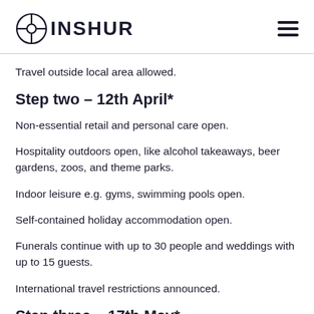INSHUR
Travel outside local area allowed.
Step two – 12th April*
Non-essential retail and personal care open.
Hospitality outdoors open, like alcohol takeaways, beer gardens, zoos, and theme parks.
Indoor leisure e.g. gyms, swimming pools open.
Self-contained holiday accommodation open.
Funerals continue with up to 30 people and weddings with up to 15 guests.
International travel restrictions announced.
Step three – 17th May*